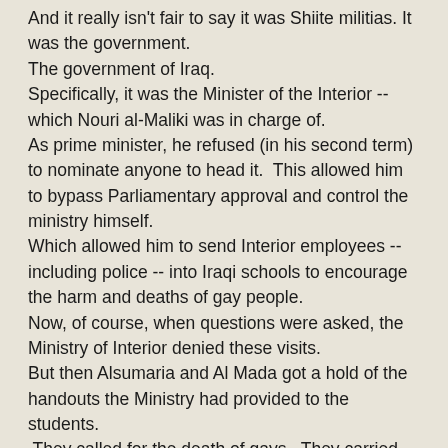And it really isn't fair to say it was Shiite militias. It was the government. The government of Iraq. Specifically, it was the Minister of the Interior -- which Nouri al-Maliki was in charge of. As prime minister, he refused (in his second term) to nominate anyone to head it. This allowed him to bypass Parliamentary approval and control the ministry himself. Which allowed him to send Interior employees -- including police -- into Iraqi schools to encourage the harm and deaths of gay people. Now, of course, when questions were asked, the Ministry of Interior denied these visits. But then Alsumaria and Al Mada got a hold of the handouts the Ministry had provided to the students. They called for the death of gays. They carried lies about gays and encouraged people to 'purge' them from Iraq.